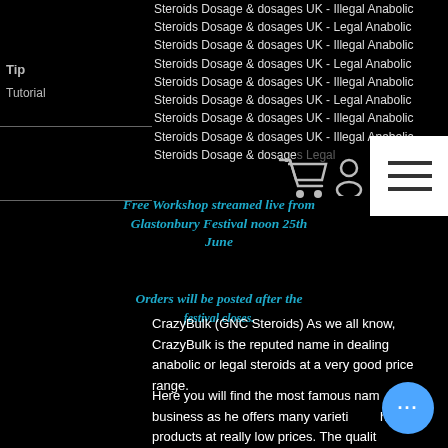Steroids Dosage & dosages UK - Illegal Anabolic Steroids Dosage & dosages UK - Legal Anabolic Steroids Dosage & dosages UK - Illegal Anabolic Steroids Dosage & dosages UK - Legal Anabolic Steroids Dosage & dosages UK - Illegal Anabolic Steroids Dosage & dosages UK - Legal Anabolic Steroids Dosage & dosages UK - Illegal Anabolic Steroids Dosage & dosages Legal
Tip
Tutorial
Free Workshop streamed live from Glastonbury Festival noon 25th June
Orders will be posted after the
CrazyBulk (GNC Steroids) As we all know, CrazyBulk is the reputed name in dealing anabolic or legal steroids at a very good price range.
Here you will find the most famous name in the business as he offers many varieties of his products at really low prices. The quality